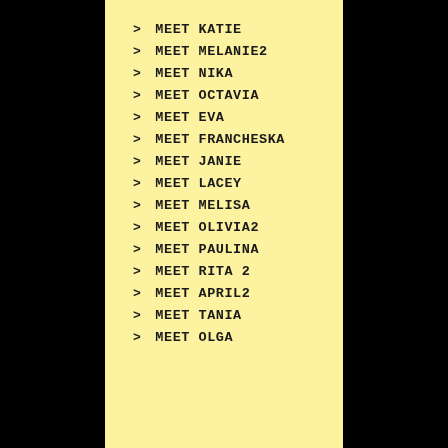> MEET KATIE
> MEET MELANIE2
> MEET NIKA
> MEET OCTAVIA
> MEET EVA
> MEET FRANCHESKA
> MEET JANIE
> MEET LACEY
> MEET MELISA
> MEET OLIVIA2
> MEET PAULINA
> MEET RITA 2
> MEET APRIL2
> MEET TANIA
> MEET OLGA